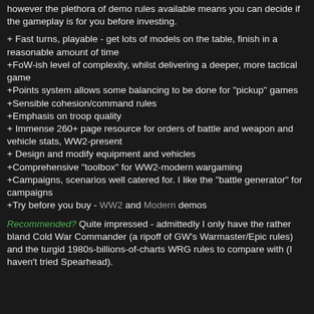however the plethora of demo rules available means you can decide if the gameplay is for you before investing.
+ Fast turns, playable - get lots of models on the table, finish in a reasonable amount of time
+FoW-ish level of complexity, whilst delivering a deeper, more tactical game
+Points system allows some balancing to be done for "pickup" games
+Sensible cohesion/command rules
+Emphasis on troop quality
+ Immense 260+ page resource for orders of battle and weapon and vehicle stats, WW2-present
+ Design and modify equipment and vehicles
+Comprehensive "toolbox" for WW2-modern wargaming
+Campaigns, scenarios well catered for. I like the "battle generator" for campaigns
+Try before you buy - WW2 and Modern demos
Recommended? Quite impressed - admittedly I only have the rather bland Cold War Commander (a ripoff of GW's Warmaster/Epic rules) and the turgid 1980s-billions-of-charts WRG rules to compare with (I haven't tried Spearhead).